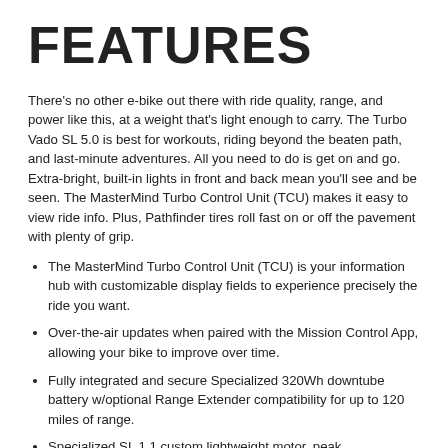FEATURES
There's no other e-bike out there with ride quality, range, and power like this, at a weight that's light enough to carry. The Turbo Vado SL 5.0 is best for workouts, riding beyond the beaten path, and last-minute adventures. All you need to do is get on and go. Extra-bright, built-in lights in front and back mean you'll see and be seen. The MasterMind Turbo Control Unit (TCU) makes it easy to view ride info. Plus, Pathfinder tires roll fast on or off the pavement with plenty of grip.
The MasterMind Turbo Control Unit (TCU) is your information hub with customizable display fields to experience precisely the ride you want.
Over-the-air updates when paired with the Mission Control App, allowing your bike to improve over time.
Fully integrated and secure Specialized 320Wh downtube battery w/optional Range Extender compatibility for up to 120 miles of range.
Specialized SL 1.1 custom lightweight motor, peak 240W/35Nm, 2x you rider amplification (180% assistance), assist up to 28mph.
Lightweight and high-strength premium carbon fork with Boost™ 12x110mm thru-axle.
Future Shock 1.5 reduces impacts from rough roads and terrain.